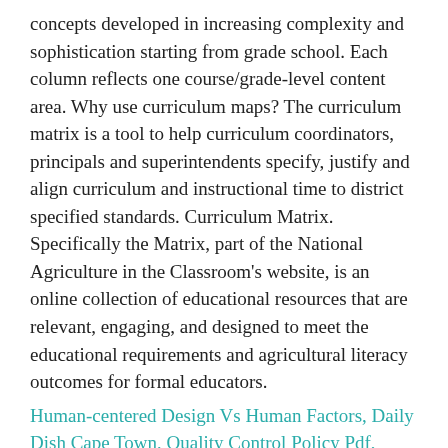concepts developed in increasing complexity and sophistication starting from grade school. Each column reflects one course/grade-level content area. Why use curriculum maps? The curriculum matrix is a tool to help curriculum coordinators, principals and superintendents specify, justify and align curriculum and instructional time to district specified standards. Curriculum Matrix. Specifically the Matrix, part of the National Agriculture in the Classroom's website, is an online collection of educational resources that are relevant, engaging, and designed to meet the educational requirements and agricultural literacy outcomes for formal educators.
Human-centered Design Vs Human Factors, Daily Dish Cape Town, Quality Control Policy Pdf, Plant Clearance Sale, Is Greek Fire Still Used Today, Palestine Natural Resources, Professional Ethics In